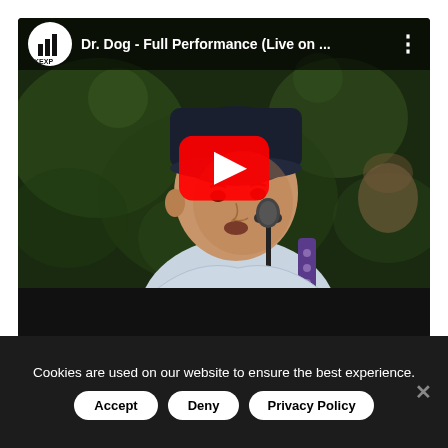[Figure (screenshot): YouTube video embed showing Dr. Dog - Full Performance (Live on ...) with a musician wearing a dark beanie hat and blue guitar strap performing at a microphone, with a green bokeh background. A red YouTube play button is centered on the video. The video player has a black control bar at the bottom.]
Cookies are used on our website to ensure the best experience.
Accept
Deny
Privacy Policy
×